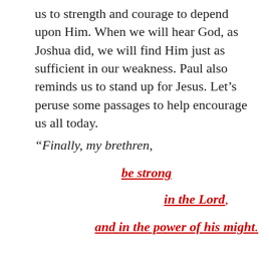us to strength and courage to depend upon Him. When we will hear God, as Joshua did, we will find Him just as sufficient in our weakness. Paul also reminds us to stand up for Jesus. Let's peruse some passages to help encourage us all today.
“Finally, my brethren, be strong in the Lord, and in the power of his might.